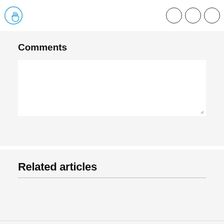[Figure (illustration): Blue clap/hand icon in a circle outline on the left, and three empty circle icons on the right — part of a web page header bar]
Comments
[Figure (screenshot): Empty white comment text area input box with a resize handle in the bottom-right corner]
Related articles
[Figure (screenshot): Empty related articles section area below the divider line]